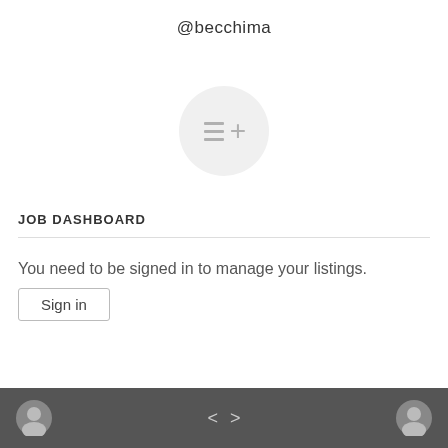@becchima
[Figure (illustration): Circular icon with a list-plus symbol (three horizontal lines and a plus sign) on a light gray background]
JOB DASHBOARD
You need to be signed in to manage your listings.
Sign in
< >